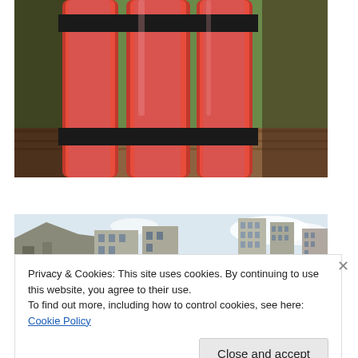[Figure (photo): Close-up photo of red dynamite sticks bundled together with black tape bands, placed on a wooden surface with green grass in background.]
Rebel With A Versatile Cause
[Figure (photo): Wide panoramic photo of damaged or destroyed buildings, rubble and multi-story structures against a cloudy sky.]
Privacy & Cookies: This site uses cookies. By continuing to use this website, you agree to their use.
To find out more, including how to control cookies, see here: Cookie Policy
Close and accept